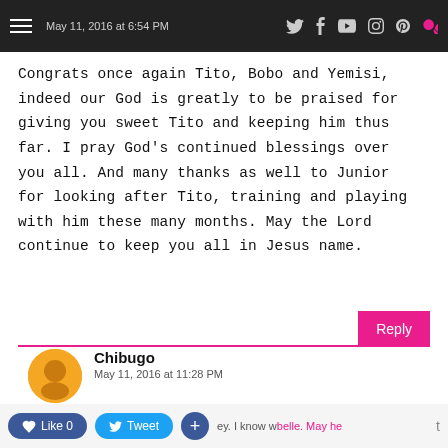COD — May 11, 2016 at 6:54 PM
Congrats once again Tito, Bobo and Yemisi, indeed our God is greatly to be praised for giving you sweet Tito and keeping him thus far. I pray God's continued blessings over you all. And many thanks as well to Junior for looking after Tito, training and playing with him these many months. May the Lord continue to keep you all in Jesus name.
Reply
Chibugo
May 11, 2016 at 11:28 PM
Chai. See Tito. haff grow finish oooo...